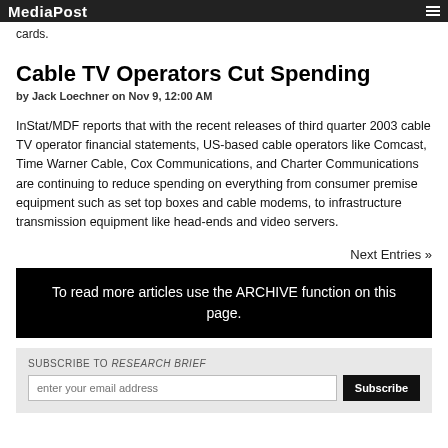MediaPost
cards.
Cable TV Operators Cut Spending
by Jack Loechner on Nov 9, 12:00 AM
InStat/MDF reports that with the recent releases of third quarter 2003 cable TV operator financial statements, US-based cable operators like Comcast, Time Warner Cable, Cox Communications, and Charter Communications are continuing to reduce spending on everything from consumer premise equipment such as set top boxes and cable modems, to infrastructure transmission equipment like head-ends and video servers.
Next Entries »
To read more articles use the ARCHIVE function on this page.
SUBSCRIBE TO RESEARCH BRIEF